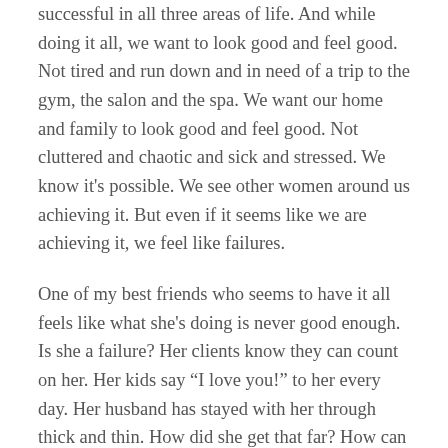successful in all three areas of life. And while doing it all, we want to look good and feel good. Not tired and run down and in need of a trip to the gym, the salon and the spa. We want our home and family to look good and feel good. Not cluttered and chaotic and sick and stressed. We know it's possible. We see other women around us achieving it. But even if it seems like we are achieving it, we feel like failures.
One of my best friends who seems to have it all feels like what she's doing is never good enough. Is she a failure? Her clients know they can count on her. Her kids say "I love you!" to her every day. Her husband has stayed with her through thick and thin. How did she get that far? How can she get beyond the feeling that she must hide the fact that she's winging it? How do any of us get there?
That's what "OverAchiever Mom" will be exploring. And